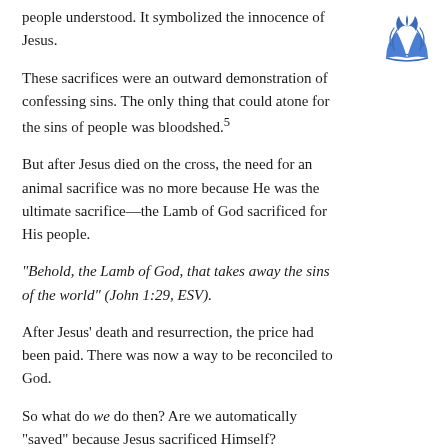people understood. It symbolized the innocence of Jesus.
[Figure (logo): Seventh-day Adventist Church logo — a blue stylized flame/wing shape above an open book]
These sacrifices were an outward demonstration of confessing sins. The only thing that could atone for the sins of people was bloodshed.⁵
But after Jesus died on the cross, the need for an animal sacrifice was no more because He was the ultimate sacrifice—the Lamb of God sacrificed for His people.
“Behold, the Lamb of God, that takes away the sins of the world” (John 1:29, ESV).
After Jesus’ death and resurrection, the price had been paid. There was now a way to be reconciled to God.
So what do we do then? Are we automatically “saved” because Jesus sacrificed Himself?
Think back to the earlier stories of the fall of Lucifer and the fall of mankind. Both situations involved doubt and temptation, but what sealed the deal was the choice.